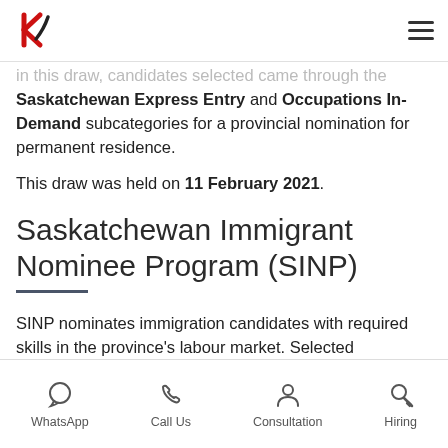K logo + hamburger menu
in this draw, candidates selected came through the Saskatchewan Express Entry and Occupations In-Demand subcategories for a provincial nomination for permanent residence.
This draw was held on 11 February 2021.
Saskatchewan Immigrant Nominee Program (SINP)
SINP nominates immigration candidates with required skills in the province's labour market. Selected candidates should have Educational
WhatsApp   Call Us   Consultation   Hiring